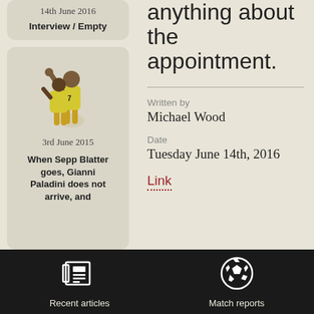anything about the appointment.
14th June 2016
Interview / Empty
[Figure (illustration): Two soccer players in yellow jerseys celebrating]
3rd June 2015
When Sepp Blatter goes, Gianni Paladini does not arrive, and
Written by
Michael Wood
Date
Tuesday June 14th, 2016
Link
Recent articles
Match reports